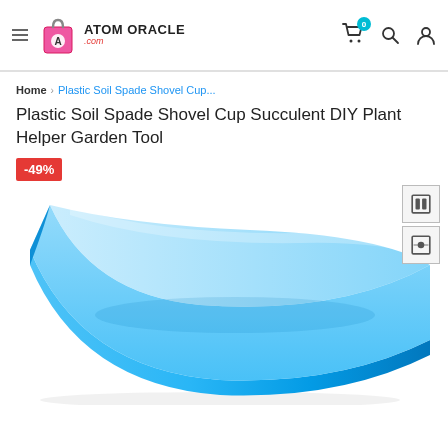[Figure (logo): Atom Oracle website logo with shopping bag icon, hamburger menu, cart with badge showing 0, search icon, and user icon]
Home › Plastic Soil Spade Shovel Cup...
Plastic Soil Spade Shovel Cup Succulent DIY Plant Helper Garden Tool
-49%
[Figure (photo): Close-up photo of a blue plastic soil spade shovel cup garden tool against white background]